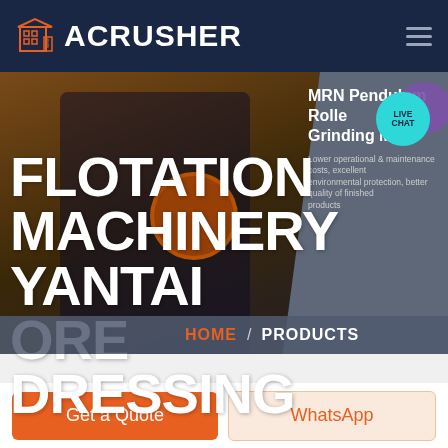[Figure (screenshot): Acrusher website header with dark navy background, orange building logo icon, ACRUSHER text in white bold, and hamburger menu icon on the right]
FLOTATION MACHINERY YANTAI ORE DRESSING
MRN Pendulum Roller Grinding Mill
Lower operational & maintenance costs, excellent environmental protection, better quality of finished products
HOME / PRODUCTS
Get a Quote
WhatsApp